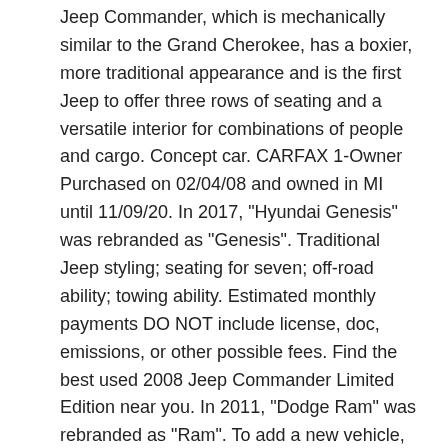Jeep Commander, which is mechanically similar to the Grand Cherokee, has a boxier, more traditional appearance and is the first Jeep to offer three rows of seating and a versatile interior for combinations of people and cargo. Concept car. CARFAX 1-Owner Purchased on 02/04/08 and owned in MI until 11/09/20. In 2017, "Hyundai Genesis" was rebranded as "Genesis". Traditional Jeep styling; seating for seven; off-road ability; towing ability. Estimated monthly payments DO NOT include license, doc, emissions, or other possible fees. Find the best used 2008 Jeep Commander Limited Edition near you. In 2011, "Dodge Ram" was rebranded as "Ram". To add a new vehicle, select the year, make, and model at left. Best SUVs ... 2009 Jeep Commander Limited. Your recently viewed items and featured recommendations, Select the department you want to search in. 2008 Jeep Commander Limited Auto 4x4. ... Publié le 21/01/2009 Mis à jour le 21/01/2009 .. It has 5 Doors...